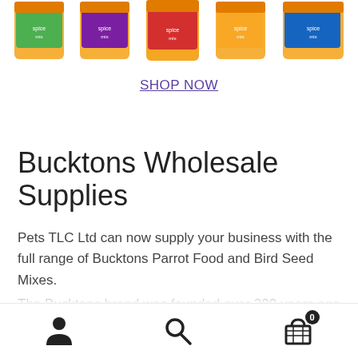[Figure (photo): Row of colorful spice/bird food product containers (jars/tubs) with orange lids, partially visible at the top of the page, showing various colored labels.]
SHOP NOW
Bucktons Wholesale Supplies
Pets TLC Ltd can now supply your business with the full range of Bucktons Parrot Food and Bird Seed Mixes.
The Bucktons brand was founded over 200 years ago when George Buckton started a general merchants company.
[Figure (other): Bottom navigation bar with user/account icon, search icon, and shopping cart icon with badge showing 0.]